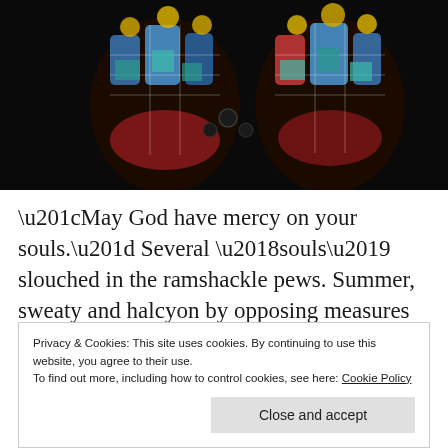[Figure (photo): Stained glass window photograph showing colorful religious figures including angels/saints in blue, red, and gold, set against a dark black background. Two large ornate stained glass panels visible with intricate religious imagery.]
“May God have mercy on your souls.” Several ‘souls’ slouched in the ramshackle pews. Summer, sweaty and halcyon by opposing measures eked on, throwing long shadows across the tiled floor. The very air was heavy, incense cloying as it wound its way along the nave. Once bright tapestries donated by “christians from…”
Privacy & Cookies: This site uses cookies. By continuing to use this website, you agree to their use.
To find out more, including how to control cookies, see here: Cookie Policy
Close and accept